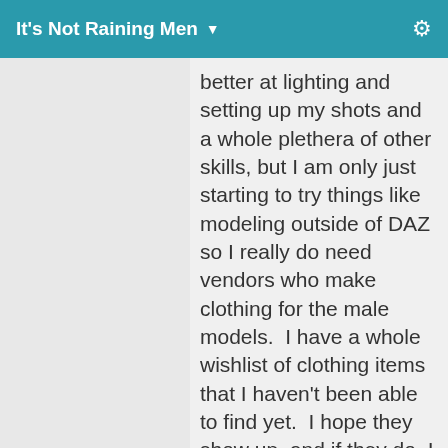It's Not Raining Men ▼
better at lighting and setting up my shots and a whole plethera of other skills, but I am only just starting to try things like modeling outside of DAZ so I really do need vendors who make clothing for the male models.  I have a whole wishlist of clothing items that I haven't been able to find yet.  I hope they show up, and if they do, I will buy them.
As for showing off renders of male specific items in the Galleries by more male oriented artists, I would love to